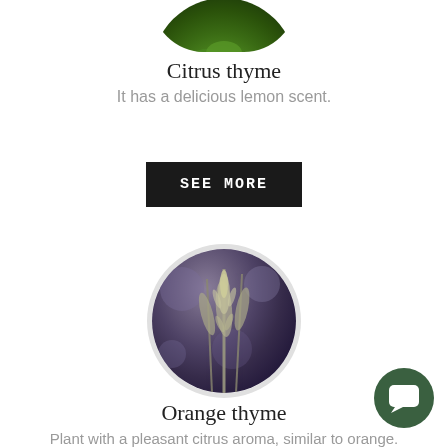[Figure (photo): Circular photo of citrus thyme plant with dense green leaves, cropped at top of page]
Citrus thyme
It has a delicious lemon scent.
SEE MORE
[Figure (photo): Circular photo of orange thyme plant with feathery grey-green stems against a blurred dark blue-purple background]
Orange thyme
Plant with a pleasant citrus aroma, similar to orange.